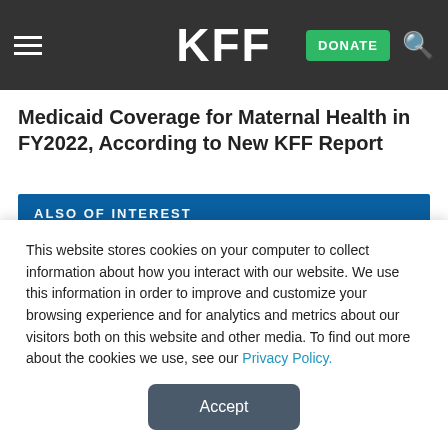KFF — DONATE
Medicaid Coverage for Maternal Health in FY2022, According to New KFF Report
ALSO OF INTEREST
Medicaid Coverage of Family Planning Benefits: Findings from a 2021 State Survey
This website stores cookies on your computer to collect information about how you interact with our website. We use this information in order to improve and customize your browsing experience and for analytics and metrics about our visitors both on this website and other media. To find out more about the cookies we use, see our Privacy Policy.
Accept